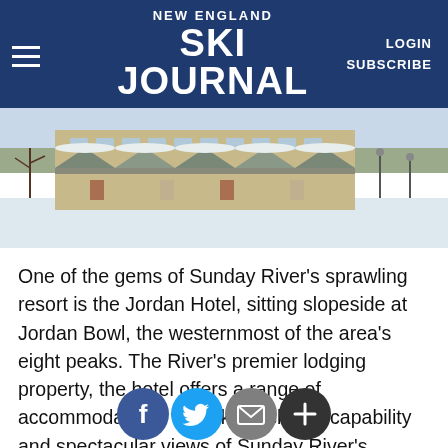NEW ENGLAND SKI JOURNAL  LOGIN  SUBSCRIBE
[Figure (photo): Exterior photo of the Jordan Hotel at Sunday River ski resort in winter, showing snow-covered grounds, the multi-story beige hotel building, and smaller chalet-style outbuildings with snowy roofs.]
One of the gems of Sunday River's sprawling resort is the Jordan Hotel, sitting slopeside at Jordan Bowl, the westernmost of the area's eight peaks. The River's premier lodging property, the hotel offers a range of accommodations with ski-in, ski-out capability and spectacular views of Sunday River's western peaks and the Mahoosuc Range.